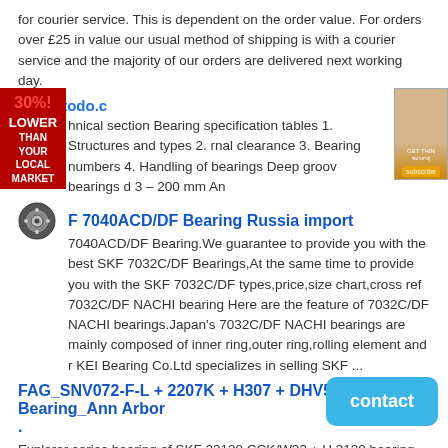for courier service. This is dependent on the order value. For orders over £25 in value our usual method of shipping is with a courier service and the majority of our orders are delivered next working day.
balerytodo.c
hnical section Bearing specification tables 1. Structures and types 2. rnal clearance 3. Bearing numbers 4. Handling of bearings Deep groov bearings d 3 – 200 mm An
F 7040ACD/DF Bearing Russia import
7040ACD/DF Bearing.We guarantee to provide you with the best SKF 7032C/DF Bearings,At the same time to provide you with the SKF 7032C/DF types,price,size chart,cross ref 7032C/DF NACHI bearing Here are the feature of 7032C/DF NACHI bearings.Japan's 7032C/DF NACHI bearings are mainly composed of inner ring,outer ring,rolling element and r KEI Bearing Co.Ltd specializes in selling SKF ...
FAG_SNV072-F-L + 2207K + H307 + DHV507 Bearing_Ann Arbor .
Explorer series bearing of SKF 23120 CCK/W33 + H 3120 bearing find best in India are better than any brand FAG SNV072-F-L + 2207K bearing high . GET PRICE BY E-MAIL. 2207k h307 bearing Price in South Korea .